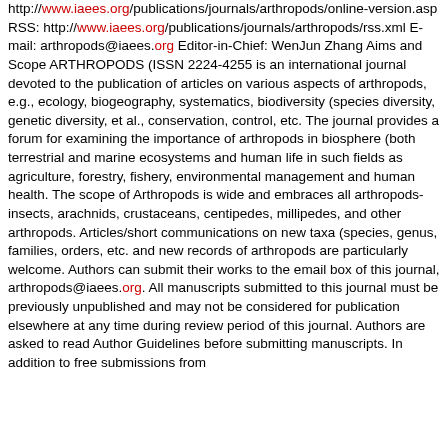http://www.iaees.org/publications/journals/arthropods/online-version.asp RSS: http://www.iaees.org/publications/journals/arthropods/rss.xml E-mail: arthropods@iaees.org Editor-in-Chief: WenJun Zhang Aims and Scope ARTHROPODS (ISSN 2224-4255 is an international journal devoted to the publication of articles on various aspects of arthropods, e.g., ecology, biogeography, systematics, biodiversity (species diversity, genetic diversity, et al., conservation, control, etc. The journal provides a forum for examining the importance of arthropods in biosphere (both terrestrial and marine ecosystems and human life in such fields as agriculture, forestry, fishery, environmental management and human health. The scope of Arthropods is wide and embraces all arthropods-insects, arachnids, crustaceans, centipedes, millipedes, and other arthropods. Articles/short communications on new taxa (species, genus, families, orders, etc. and new records of arthropods are particularly welcome. Authors can submit their works to the email box of this journal, arthropods@iaees.org. All manuscripts submitted to this journal must be previously unpublished and may not be considered for publication elsewhere at any time during review period of this journal. Authors are asked to read Author Guidelines before submitting manuscripts. In addition to free submissions from